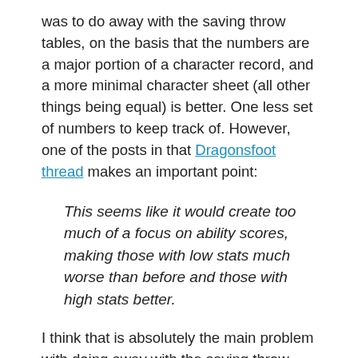was to do away with the saving throw tables, on the basis that the numbers are a major portion of a character record, and a more minimal character sheet (all other things being equal) is better. One less set of numbers to keep track of. However, one of the posts in that Dragonsfoot thread makes an important point:
This seems like it would create too much of a focus on ability scores, making those with low stats much worse than before and those with high stats better.
I think that is absolutely the main problem with doing away with the saving throw tables. Using an ability-centric mechanic for saves makes abilities more important, and we all know where that leads (bonus inflation, min/maxing, heavier chargen, etc). Also, there is a certain feeling to Dungeons & Dragons, and the saving throws, with all